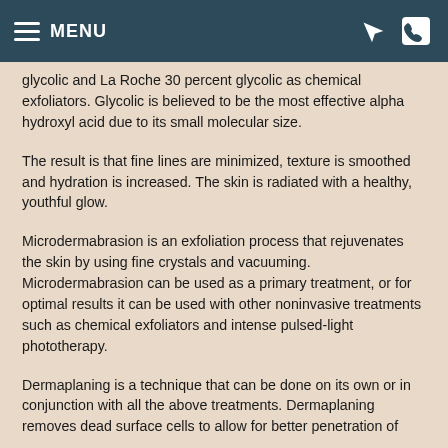MENU
glycolic and La Roche 30 percent glycolic as chemical exfoliators. Glycolic is believed to be the most effective alpha hydroxyl acid due to its small molecular size.
The result is that fine lines are minimized, texture is smoothed and hydration is increased. The skin is radiated with a healthy, youthful glow.
Microdermabrasion is an exfoliation process that rejuvenates the skin by using fine crystals and vacuuming. Microdermabrasion can be used as a primary treatment, or for optimal results it can be used with other noninvasive treatments such as chemical exfoliators and intense pulsed-light phototherapy.
Dermaplaning is a technique that can be done on its own or in conjunction with all the above treatments. Dermaplaning removes dead surface cells to allow for better penetration of